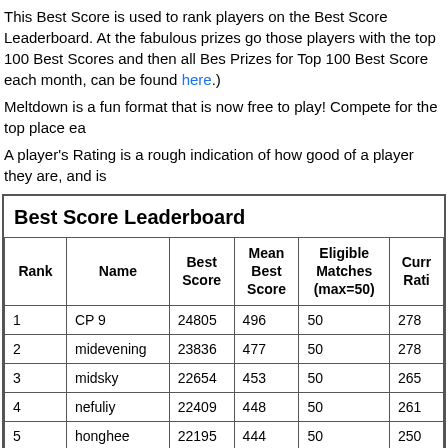This Best Score is used to rank players on the Best Score Leaderboard. At the fabulous prizes go those players with the top 100 Best Scores and then all Bes Prizes for Top 100 Best Score each month, can be found here.)
Meltdown is a fun format that is now free to play! Compete for the top place ea
A player's Rating is a rough indication of how good of a player they are, and is
Best Score Leaderboard
| Rank | Name | Best Score | Mean Best Score | Eligible Matches (max=50) | Curr Rati |
| --- | --- | --- | --- | --- | --- |
| 1 | CP 9 | 24805 | 496 | 50 | 278 |
| 2 | midevening | 23836 | 477 | 50 | 278 |
| 3 | midsky | 22654 | 453 | 50 | 265 |
| 4 | nefuliy | 22409 | 448 | 50 | 261 |
| 5 | honghee | 22195 | 444 | 50 | 250 |
| 6 | Coran | 21715 | 434 | 50 | 245 |